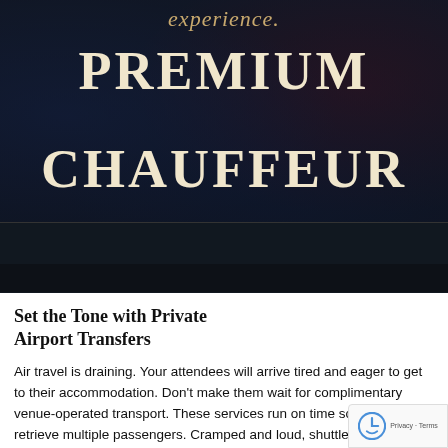[Figure (photo): Dark promotional banner with text overlaid on a dark background showing people in formal attire. Italic script text 'experience.' at top in gold, followed by large serif bold white text 'PREMIUM CHAUFFEUR'. Below is a small broken image icon on a dark strip.]
Set the Tone with Private Airport Transfers
Air travel is draining. Your attendees will arrive tired and eager to get to their accommodation. Don't make them wait for complimentary venue-operated transport. These services run on time schedules and retrieve multiple passengers. Cramped and loud, shuttle transfers can extend travel time and stress...